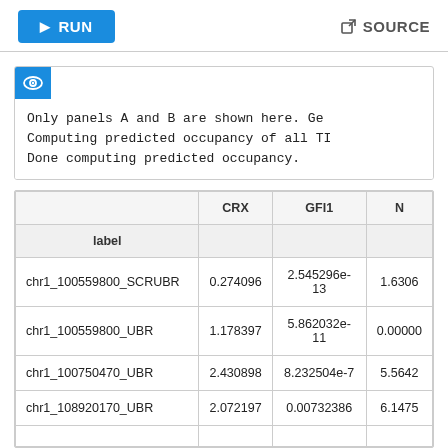RUN   SOURCE
Only panels A and B are shown here. Ge
Computing predicted occupancy of all TI
Done computing predicted occupancy.
|  | CRX | GFI1 | N... |
| --- | --- | --- | --- |
| label |  |  |  |
| chr1_100559800_SCRUBR | 0.274096 | 2.545296e-13 | 1.6306... |
| chr1_100559800_UBR | 1.178397 | 5.862032e-11 | 0.00000... |
| chr1_100750470_UBR | 2.430898 | 8.232504e-7 | 5.5642... |
| chr1_108920170_UBR | 2.072197 | 0.00732386 | 6.1475... |